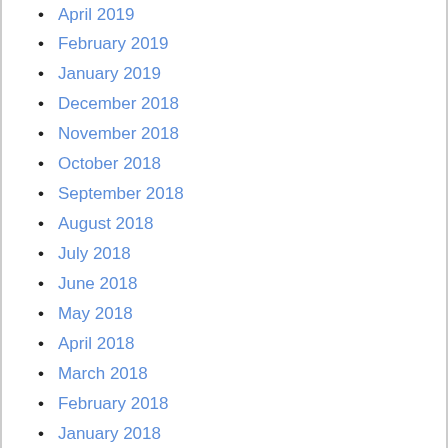April 2019
February 2019
January 2019
December 2018
November 2018
October 2018
September 2018
August 2018
July 2018
June 2018
May 2018
April 2018
March 2018
February 2018
January 2018
December 2017
November 2017
October 2017
September 2017